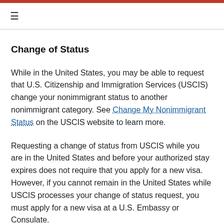≡
Change of Status
While in the United States, you may be able to request that U.S. Citizenship and Immigration Services (USCIS) change your nonimmigrant status to another nonimmigrant category. See Change My Nonimmigrant Status on the USCIS website to learn more.
Requesting a change of status from USCIS while you are in the United States and before your authorized stay expires does not require that you apply for a new visa. However, if you cannot remain in the United States while USCIS processes your change of status request, you must apply for a new visa at a U.S. Embassy or Consulate.